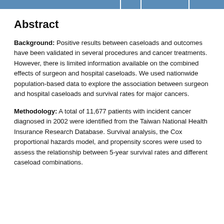Abstract
Background: Positive results between caseloads and outcomes have been validated in several procedures and cancer treatments. However, there is limited information available on the combined effects of surgeon and hospital caseloads. We used nationwide population-based data to explore the association between surgeon and hospital caseloads and survival rates for major cancers.
Methodology: A total of 11,677 patients with incident cancer diagnosed in 2002 were identified from the Taiwan National Health Insurance Research Database. Survival analysis, the Cox proportional hazards model, and propensity scores were used to assess the relationship between 5-year survival rates and different caseload combinations.